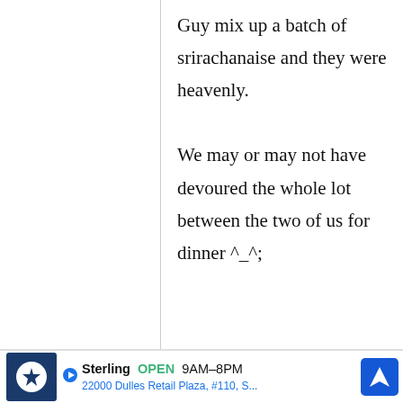Guy mix up a batch of srirachanaise and they were heavenly.

We may or may not have devoured the whole lot between the two of us for dinner ^_^;
Ruthan
9 August, 2013 -
Re: Chicken Karaage:
Sterling OPEN 9AM–8PM
22000 Dulles Retail Plaza, #110, S...